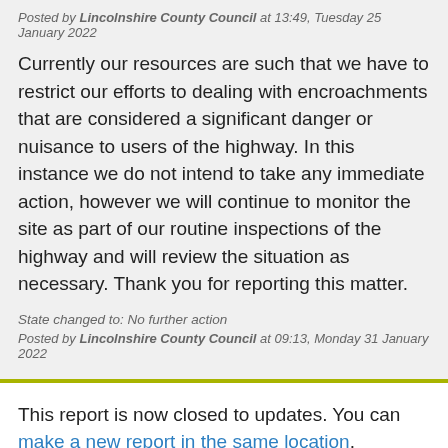Posted by Lincolnshire County Council at 13:49, Tuesday 25 January 2022
Currently our resources are such that we have to restrict our efforts to dealing with encroachments that are considered a significant danger or nuisance to users of the highway. In this instance we do not intend to take any immediate action, however we will continue to monitor the site as part of our routine inspections of the highway and will review the situation as necessary. Thank you for reporting this matter.
State changed to: No further action
Posted by Lincolnshire County Council at 09:13, Monday 31 January 2022
This report is now closed to updates. You can make a new report in the same location.